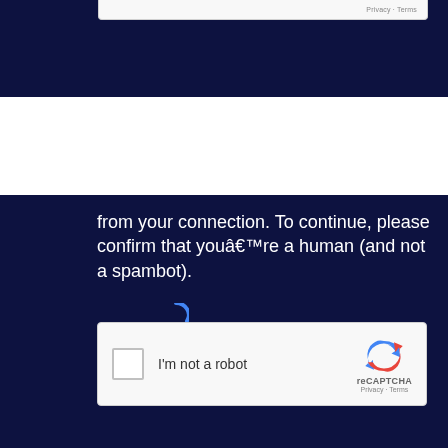[Figure (screenshot): Top portion of a reCAPTCHA widget showing 'Privacy · Terms' text on a light grey background, partially cut off at top]
from your connection. To continue, please confirm that youâ€™re a human (and not a spambot).
[Figure (screenshot): reCAPTCHA widget with checkbox, 'I'm not a robot' label, reCAPTCHA logo, and Privacy · Terms links]